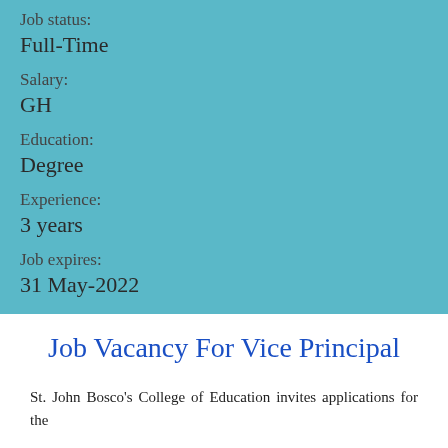Job status:
Full-Time
Salary:
GH
Education:
Degree
Experience:
3 years
Job expires:
31 May-2022
Job Vacancy For Vice Principal
St. John Bosco's College of Education invites applications for the